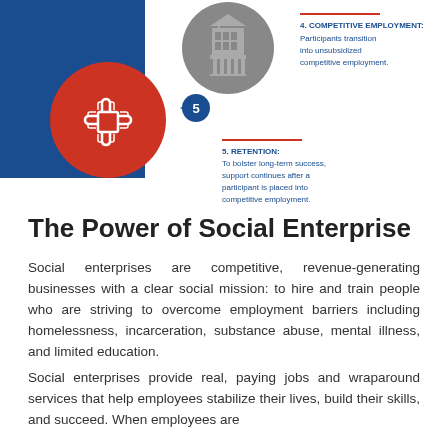[Figure (infographic): Infographic showing steps 4 and 5 of a employment program model. Step 4 is Competitive Employment (participants transition into unsubsidized competitive employment) and Step 5 is Retention (to bolster long-term success, support continues after a participant is placed into competitive employment). Visual includes a blue rectangle, a gray circle with a building icon, a red circle with interconnected hands icon, a blue numbered badge '5', and a dashed arrow.]
The Power of Social Enterprise
Social enterprises are competitive, revenue-generating businesses with a clear social mission: to hire and train people who are striving to overcome employment barriers including homelessness, incarceration, substance abuse, mental illness, and limited education.
Social enterprises provide real, paying jobs and wraparound services that help employees stabilize their lives, build their skills, and succeed. When employees are